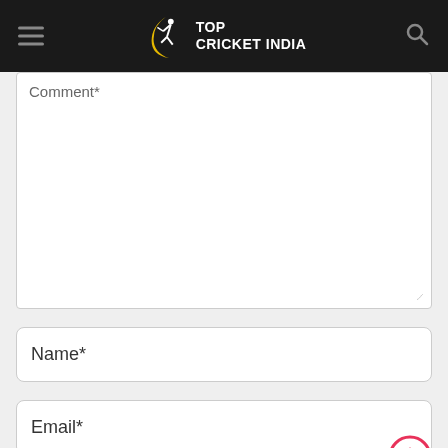TOP CRICKET INDIA
Comment*
Name*
Email*
Website